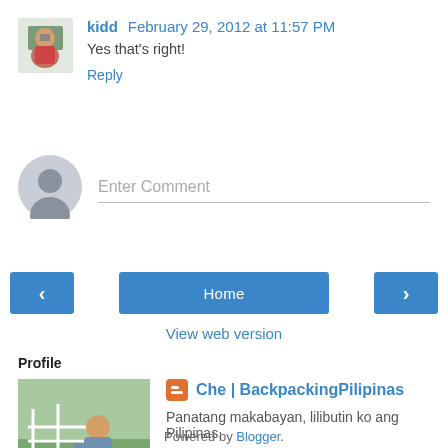[Figure (photo): Small avatar photo of commenter 'kidd' — person taking a photo outdoors]
kidd February 29, 2012 at 11:57 PM
Yes that's right!
Reply
[Figure (illustration): Anonymous user avatar — grey silhouette on light grey circle]
Enter Comment
< (previous) | Home | > (next) navigation buttons
View web version
Profile
[Figure (photo): Profile photo of Che — woman sitting on outdoor railing, greenery background]
Che | BackpackingPilipinas
Panatang makabayan, lilibutin ko ang Pilipinas.
View my complete profile
Powered by Blogger.